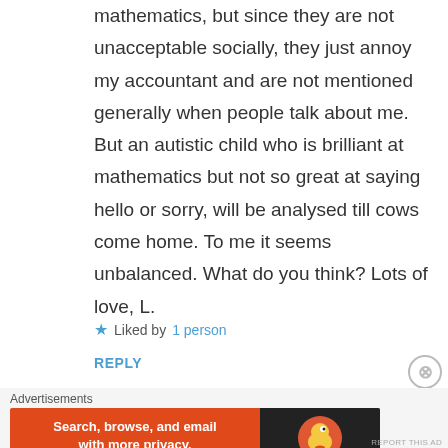mathematics, but since they are not unacceptable socially, they just annoy my accountant and are not mentioned generally when people talk about me. But an autistic child who is brilliant at mathematics but not so great at saying hello or sorry, will be analysed till cows come home. To me it seems unbalanced. What do you think? Lots of love, L.
★ Liked by 1 person
REPLY
Advertisements
[Figure (other): DuckDuckGo advertisement banner: orange background with text 'Search, browse, and email with more privacy. All in One Free App' and DuckDuckGo logo on dark background.]